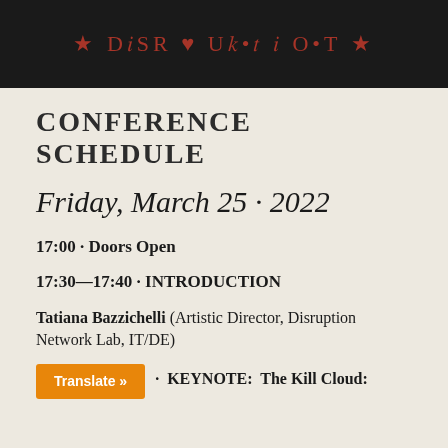[Figure (illustration): Dark banner with red stylized text/logo on black background]
CONFERENCE SCHEDULE
Friday, March 25 · 2022
17:00 · Doors Open
17:30—17:40 · INTRODUCTION
Tatiana Bazzichelli (Artistic Director, Disruption Network Lab, IT/DE)
· KEYNOTE: The Kill Cloud: